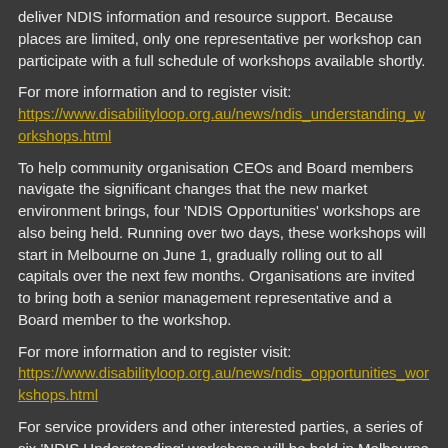deliver NDIS information and resource support. Because places are limited, only one representative per workshop can participate with a full schedule of workshops available shortly.
For more information and to register visit:
https://www.disabilityloop.org.au/news/ndis_understanding_workshops.html
To help community organisation CEOs and Board members navigate the significant changes that the new market environment brings, four ‘NDIS Opportunities’ workshops are also being held. Running over two days, these workshops will start in Melbourne on June 1, gradually rolling out to all capitals over the next few months. Organisations are invited to bring both a senior management representative and a Board member to the workshop.
For more information and to register visit:
https://www.disabilityloop.org.au/news/ndis_opportunities_workshops.html
For service providers and other interested parties, a series of six ‘NDIS Understanding’ workshops will be held in Melbourne on June 7, 8 and 9, 2016 with further workshop opportunities available depending on demand. The introductory cost is $250 per person, per session.
To obtain a place on the waiting list visit: